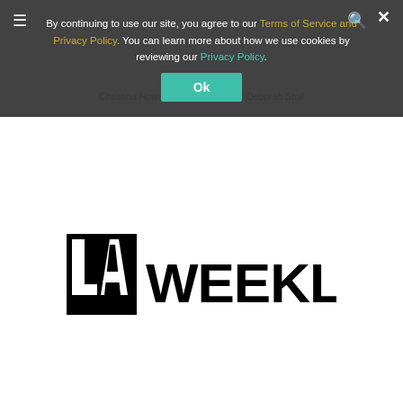By continuing to use our site, you agree to our Terms of Service and Privacy Policy. You can learn more about how we use cookies by reviewing our Privacy Policy.
Christina Howala of Rivera. Credit: Deborah Stoll
[Figure (logo): LA Weekly logo — black block letters reading LA WEEKLY with the LA in a square block style]